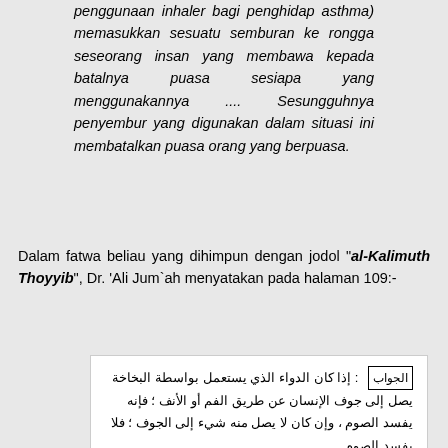penggunaan inhaler bagi penghidap asthma) memasukkan sesuatu semburan ke rongga seseorang insan yang membawa kepada batalnya puasa sesiapa yang menggunakannya .... Sesungguhnya penyembur yang digunakan dalam situasi ini membatalkan puasa orang yang berpuasa.
Dalam fatwa beliau yang dihimpun dengan jodol "al-Kalimuth Thoyyib", Dr. 'Ali Jum`ah menyatakan pada halaman 109:-
[Figure (screenshot): Arabic text box with an 'al-Jawab' label, containing Arabic script discussing use of inhaler medicine and its effect on fasting.]